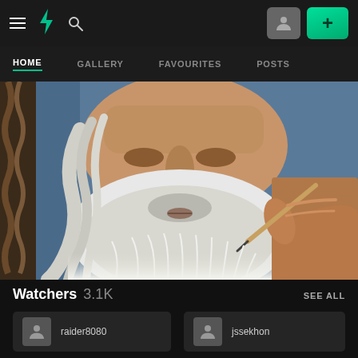DeviantArt mobile app navigation bar with hamburger menu, DA logo, search icon, profile button, and + button
HOME  GALLERY  FAVOURITES  POSTS
[Figure (photo): Close-up photo of a highly detailed pencil/colored pencil drawing of a bearded wizard-like old man with long white hair and blue robes. A hand holding a pencil is visible on the right side, actively drawing the artwork.]
Watchers 3.1K  SEE ALL
raider8080
jssekhon